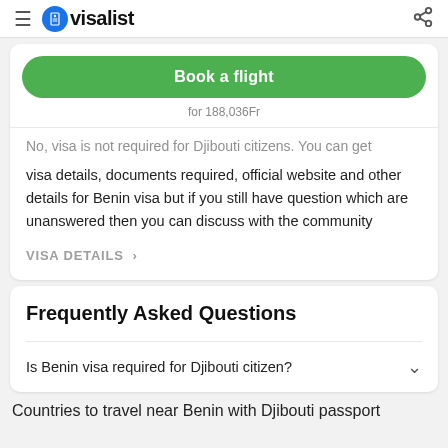visalist
No, visa is not required for Djibouti citizens. You can get visa details, documents required, official website and other details for Benin visa but if you still have question which are unanswered then you can discuss with the community
VISA DETAILS >
Frequently Asked Questions
Is Benin visa required for Djibouti citizen?
Countries to travel near Benin with Djibouti passport